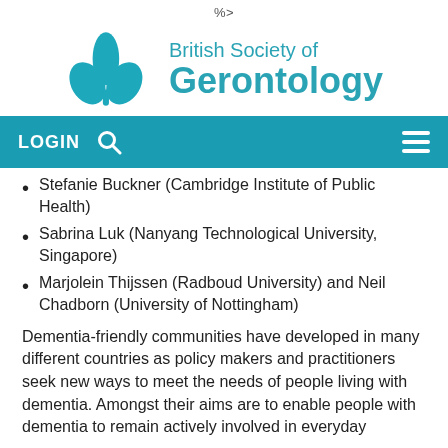%>
[Figure (logo): British Society of Gerontology logo with teal leaf/plant motif and teal text]
LOGIN [search icon] [menu icon]
Stefanie Buckner (Cambridge Institute of Public Health)
Sabrina Luk (Nanyang Technological University, Singapore)
Marjolein Thijssen (Radboud University) and Neil Chadborn (University of Nottingham)
Dementia-friendly communities have developed in many different countries as policy makers and practitioners seek new ways to meet the needs of people living with dementia. Amongst their aims are to enable people with dementia to remain actively involved in everyday